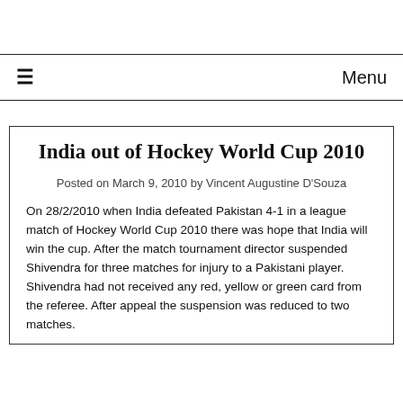≡  Menu
India out of Hockey World Cup 2010
Posted on March 9, 2010 by Vincent Augustine D'Souza
On 28/2/2010 when India defeated Pakistan 4-1 in a league match of Hockey World Cup 2010 there was hope that India will win the cup. After the match tournament director suspended Shivendra for three matches for injury to a Pakistani player. Shivendra had not received any red, yellow or green card from the referee. After appeal the suspension was reduced to two matches.